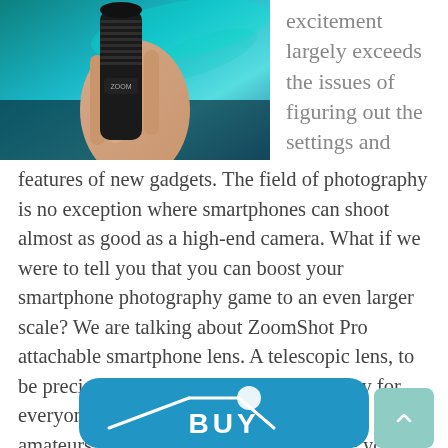[Figure (photo): A hand holding a black telescopic/monocular lens against a scenic background with blue-green sky and water]
excitement largely exceeds the issues of figuring out the settings and features of new gadgets. The field of photography is no exception where smartphones can shoot almost as good as a high-end camera. What if we were to tell you that you can boost your smartphone photography game to an even larger scale? We are talking about ZoomShot Pro attachable smartphone lens. A telescopic lens, to be precise. This invention is the perfect toy for everyone who enjoys taking pictures, from amateurs to advanced photographers. Are you familiar with that rewarding feeling of taking a stunning picture? Well, ZoomShot Pro will make it an everyday thing.
[Figure (logo): Blue rounded rectangle banner with a stylized buy/shop logo and arrow graphic]